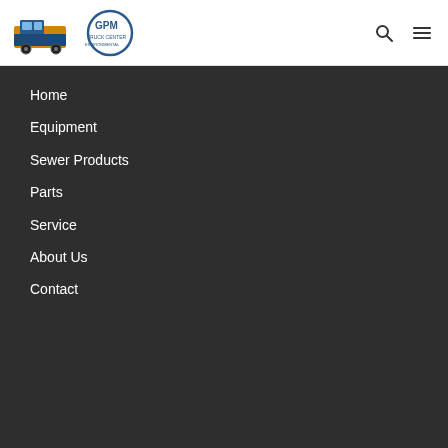[Figure (logo): GPM Truck Center logo with truck graphic and circular GPM emblem]
Home
Equipment
Sewer Products
Parts
Service
About Us
Contact